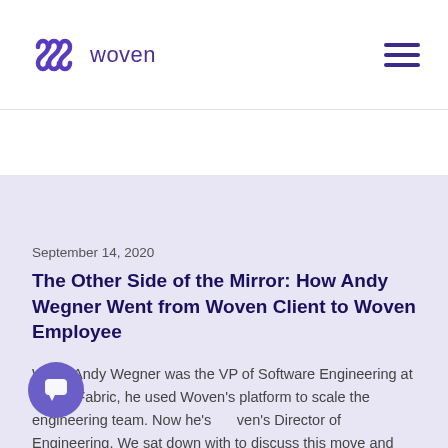[Figure (logo): Woven logo: purple woven/grid symbol followed by the text 'woven' in purple]
[Figure (other): Hamburger menu icon with three horizontal purple lines]
September 14, 2020
The Other Side of the Mirror: How Andy Wegner Went from Woven Client to Woven Employee
When Andy Wegner was the VP of Software Engineering at PacketFabric, he used Woven's platform to scale the engineering team. Now he's Woven's Director of Engineering. We sat down with to discuss this move and get his insights into how Woven can help companies achieve their